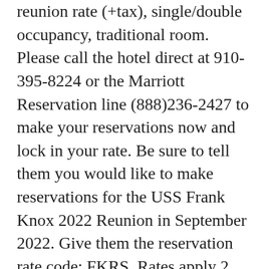reunion rate (+tax), single/double occupancy, traditional room. Please call the hotel direct at 910-395-8224 or the Marriott Reservation line (888)236-2427 to make your reservations now and lock in your rate. Be sure to tell them you would like to make reservations for the USS Frank Knox 2022 Reunion in September 2022. Give them the reservation rate code: FKRS. Rates apply 2 days before and 2 days after the reunion (pending availability, no breakfast). If you prefer you may also book online (click on the link or copy and paste the following into your browser): https://www.marriott.com/events/start.mi?id=1644002843467&key=GRP . If you have questions or need help with the link, please do not hesitate to ask. Also, let Bill Atkinson, Reunion Coordinator, know if